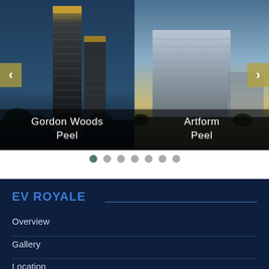[Figure (photo): Carousel showing two building photos side by side. Left: Gordon Woods, Peel — tall modern residential towers at dusk with blue sky. Right: Artform, Peel — mid-rise modern glass building at dusk. Navigation arrows on left and right edges.]
[Figure (infographic): Pagination dots: 7 dots, first one active (dark teal), rest grey]
EV ROYALE
Overview
Gallery
Location